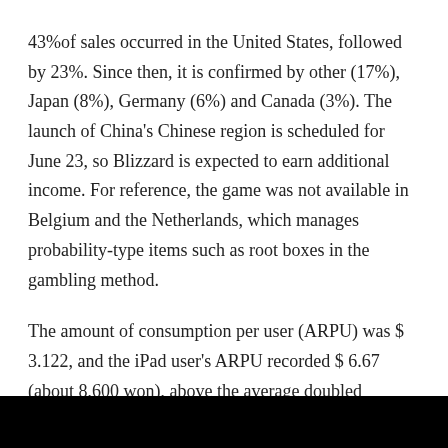43%of sales occurred in the United States, followed by 23%. Since then, it is confirmed by other (17%), Japan (8%), Germany (6%) and Canada (3%). The launch of China's Chinese region is scheduled for June 23, so Blizzard is expected to earn additional income. For reference, the game was not available in Belgium and the Netherlands, which manages probability-type items such as root boxes in the gambling method.
The amount of consumption per user (ARPU) was $ 3.122, and the iPad user's ARPU recorded $ 6.67 (about 8,600 won), above the average doubled amount.
[Figure (other): Black bar at bottom of page]